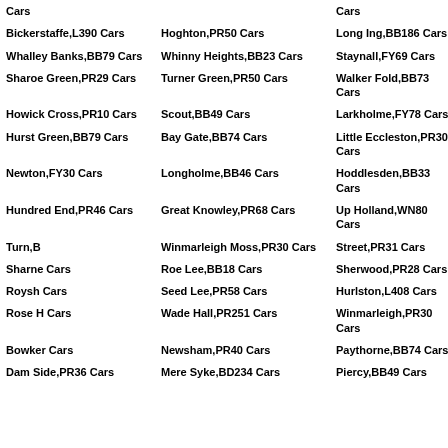Cars
Cars
Bickerstaffe,L390 Cars
Hoghton,PR50 Cars
Long Ing,BB186 Cars
Whalley Banks,BB79 Cars
Whinny Heights,BB23 Cars
Staynall,FY69 Cars
Sharoe Green,PR29 Cars
Turner Green,PR50 Cars
Walker Fold,BB73 Cars
Howick Cross,PR10 Cars
Scout,BB49 Cars
Larkholme,FY78 Cars
Hurst Green,BB79 Cars
Bay Gate,BB74 Cars
Little Eccleston,PR30 Cars
Newton,FY30 Cars
Longholme,BB46 Cars
Hoddlesden,BB33 Cars
Hundred End,PR46 Cars
Great Knowley,PR68 Cars
Up Holland,WN80 Cars
Turn,BB Cars
Winmarleigh Moss,PR30 Cars
Street,PR31 Cars
Sharne Cars
Roe Lee,BB18 Cars
Sherwood,PR28 Cars
Roysh Cars
Seed Lee,PR58 Cars
Hurlston,L408 Cars
Rose H Cars
Wade Hall,PR251 Cars
Winmarleigh,PR30 Cars
Bowker Cars
Newsham,PR40 Cars
Paythorne,BB74 Cars
Dam Side,PR36 Cars
Mere Syke,BD234 Cars
Piercy,BB49 Cars